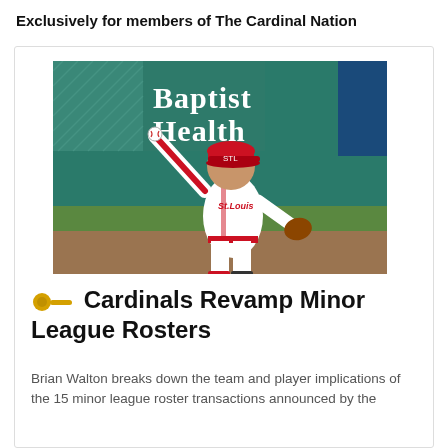Exclusively for members of The Cardinal Nation
[Figure (photo): A St. Louis Cardinals minor league baseball player in white uniform with red cap throwing a ball, with a Baptist Health outfield sign visible in the background.]
Cardinals Revamp Minor League Rosters
Brian Walton breaks down the team and player implications of the 15 minor league roster transactions announced by the